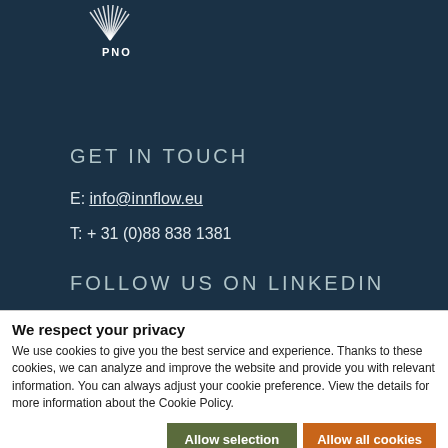[Figure (logo): PNO logo with feather/wing graphic in white on dark teal background]
GET IN TOUCH
E: info@innflow.eu
T: + 31 (0)88 838 1381
FOLLOW US ON LINKEDIN
We respect your privacy
We use cookies to give you the best service and experience. Thanks to these cookies, we can analyze and improve the website and provide you with relevant information. You can always adjust your cookie preference. View the details for more information about the Cookie Policy.
Allow selection | Allow all cookies
Necessary  Preferences  Statistics  Marketing  Show details